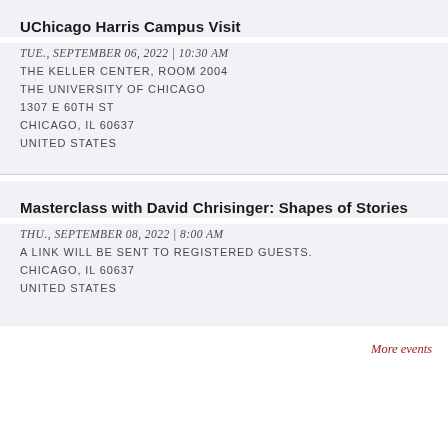UChicago Harris Campus Visit
TUE., SEPTEMBER 06, 2022 | 10:30 AM
THE KELLER CENTER, ROOM 2004
THE UNIVERSITY OF CHICAGO
1307 E 60TH ST
CHICAGO, IL 60637
UNITED STATES
Masterclass with David Chrisinger: Shapes of Stories
THU., SEPTEMBER 08, 2022 | 8:00 AM
A LINK WILL BE SENT TO REGISTERED GUESTS.
CHICAGO, IL 60637
UNITED STATES
More events